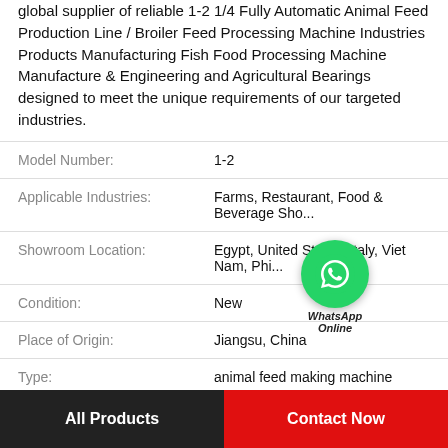global supplier of reliable 1-2 1/4 Fully Automatic Animal Feed Production Line / Broiler Feed Processing Machine Industries Products Manufacturing Fish Food Processing Machine Manufacture & Engineering and Agricultural Bearings designed to meet the unique requirements of our targeted industries.
| Attribute | Value |
| --- | --- |
| Model Number: | 1-2 |
| Applicable Industries: | Farms, Restaurant, Food & Beverage Sho... |
| Showroom Location: | Egypt, United States, Italy, Viet Nam, Phi... |
| Condition: | New |
| Place of Origin: | Jiangsu, China |
| Type: | animal feed making machine |
| Voltage: | 220V/380V 50HZ |
[Figure (other): WhatsApp Online contact button with green phone icon]
All Products
Contact Now